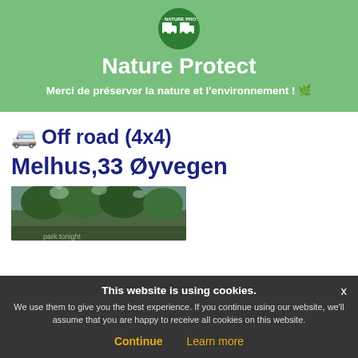[Figure (logo): Nature Protect circular logo with camper van icons on dark green background]
Nature Protect
Merci de préserver la nature et l'environnement ! 🌿
🚐 Off road (4x4)
Melhus,33 Øyvegen
[Figure (photo): Forest/nature photo showing trees with light filtering through]
This website is using cookies.
We use them to give you the best experience. If you continue using our website, we'll assume that you are happy to receive all cookies on this website.
Continue   Learn more